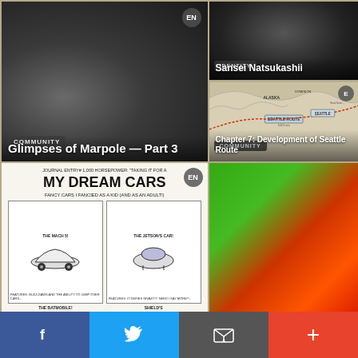[Figure (photo): Black and white vintage photo of a group of Japanese-American women sitting together]
COMMUNITY
Glimpses of Marpole — Part 3
[Figure (photo): Black and white vintage group photo, possibly Japanese-American community]
IDENTITY
Sansei Natsukashii
[Figure (map): Historical map showing Alaska, Dominion, Seattle Route with dotted lines across the Pacific]
COMMUNITY
Chapter 7: Development of Seattle Route
[Figure (illustration): Hand-drawn cartoon journal entry about dream cars: The Mach 5, The Jetson's Car, The Batmobile, Shield's car]
[Figure (photo): Close-up photo of colorful stacked jars in green and red/orange]
Facebook Twitter Email +